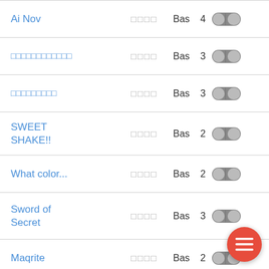Ai Nov  □□□□  Bas  4
□□□□□□□□□□□□  □□□□  Bas  3
□□□□□□□□□  □□□□  Bas  3
SWEET SHAKE!!  □□□□  Bas  2
What color...  □□□□  Bas  2
Sword of Secret  □□□□  Bas  3
Maqrite  □□□□  Bas  2